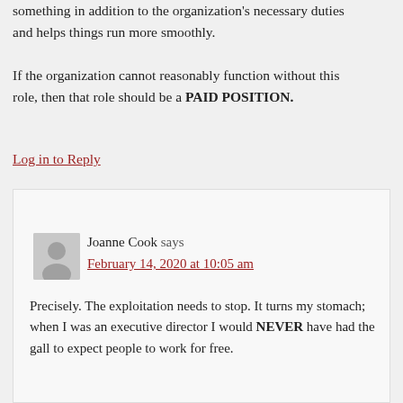something in addition to the organization's necessary duties and helps things run more smoothly.
If the organization cannot reasonably function without this role, then that role should be a PAID POSITION.
Log in to Reply
Joanne Cook says
February 14, 2020 at 10:05 am
Precisely. The exploitation needs to stop. It turns my stomach; when I was an executive director I would NEVER have had the gall to expect people to work for free.